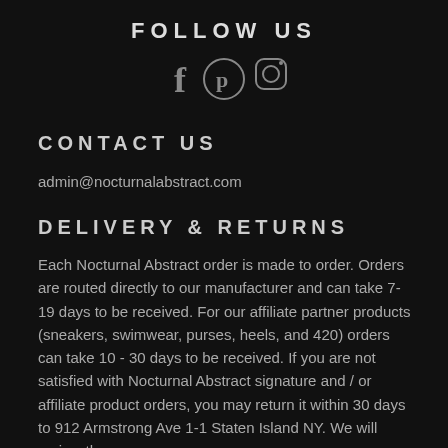FOLLOW US
[Figure (illustration): Social media icons: Facebook (f), Pinterest (P circle), Instagram (camera rounded square)]
CONTACT US
admin@nocturnalabstract.com
DELIVERY & RETURNS
Each Nocturnal Abstract order is made to order. Orders are routed directly to our manufacturer and can take 7-19 days to be received.  For our affiliate partner products (sneakers, swimwear, purses, heels, and 420) orders can take 10 - 30 days to be received.   If you are not satisfied with Nocturnal Abstract signature and / or affiliate product orders, you may return it within 30 days to 912 Armstrong Ave 1-1 Staten Island NY.   We will review the